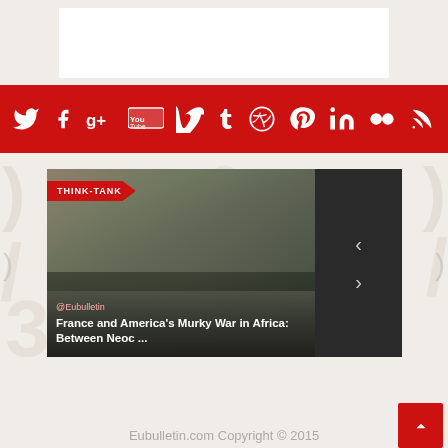[Figure (screenshot): White banner area at top of webpage]
[Figure (infographic): Red social media icon bar with Twitter, Facebook, Google+, YouTube, Vimeo, Tumblr, Dribbble, Pinterest, LinkedIn, Flickr, RSS icons in white on red background]
[Figure (photo): Article card with soldier/military image, THINK-TANK badge in red, @Eubulletin handle, and title 'France and America's Murky War in Africa: Between Neoc ...' with navigation arrows on dark sidebar]
Eubulletin.com Copyright © 2015